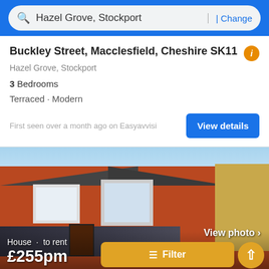Hazel Grove, Stockport | Change
Buckley Street, Macclesfield, Cheshire SK11
Hazel Grove, Stockport
3 Bedrooms
Terraced · Modern
First seen over a month ago on Easyavvisi
[Figure (photo): Exterior photo of a red brick terraced house with white-framed windows and yellow brick corner detail. Text overlay: House · to rent £255pm. Filter button and upload arrow button visible.]
Lowestoft Street, Rusholme, Manchester M14